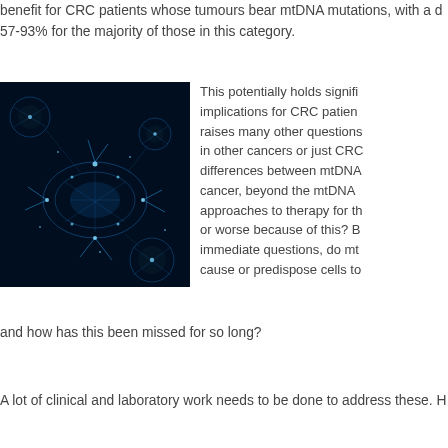benefit for CRC patients whose tumours bear mtDNA mutations, with a d 57-93% for the majority of those in this category.
[Figure (photo): Digital illustration of cancer cells rendered as glowing blue geometric wireframe structures against a dark navy background, showing interconnected spherical and irregular cell-like shapes with bright blue light points and connecting lines.]
This potentially holds signifi implications for CRC patien raises many other questions in other cancers or just CRC differences between mtDNA cancer, beyond the mtDNA approaches to therapy for th or worse because of this? B immediate questions, do mt cause or predispose cells to
and how has this been missed for so long?
A lot of clinical and laboratory work needs to be done to address these. H